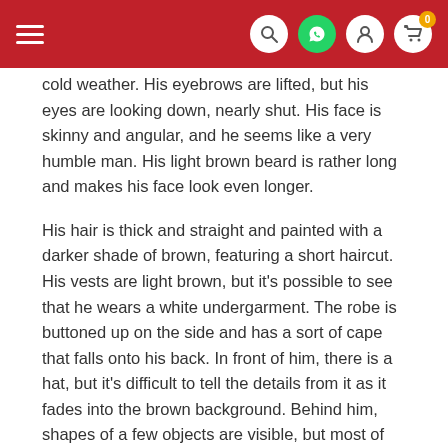Navigation bar with hamburger menu, search, WhatsApp, account, and cart icons
cold weather. His eyebrows are lifted, but his eyes are looking down, nearly shut. His face is skinny and angular, and he seems like a very humble man. His light brown beard is rather long and makes his face look even longer.
His hair is thick and straight and painted with a darker shade of brown, featuring a short haircut. His vests are light brown, but it's possible to see that he wears a white undergarment. The robe is buttoned up on the side and has a sort of cape that falls onto his back. In front of him, there is a hat, but it's difficult to tell the details from it as it fades into the brown background. Behind him, shapes of a few objects are visible, but most of them are just shading suggesting a background and not specific figures.
This painting was recently sold to a private collector for $25.8 million.